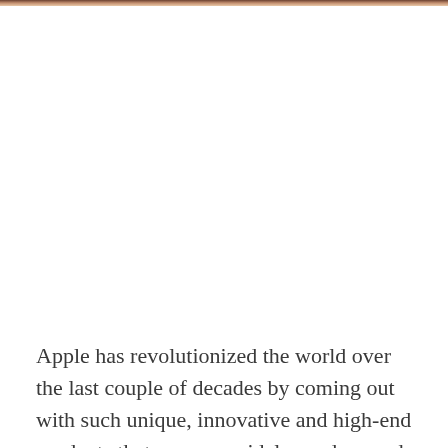[Figure (photo): Partial photograph visible at the very top of the page, showing what appears to be a person or close-up image cropped to a narrow strip.]
Apple has revolutionized the world over the last couple of decades by coming out with such unique, innovative and high-end products that are now widely used around the world. One of